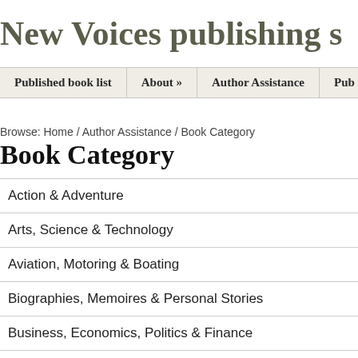New Voices publishing s
Published book list   About »   Author Assistance   Pub
Browse: Home / Author Assistance / Book Category
Book Category
Action & Adventure
Arts, Science & Technology
Aviation, Motoring & Boating
Biographies, Memoires & Personal Stories
Business, Economics, Politics & Finance